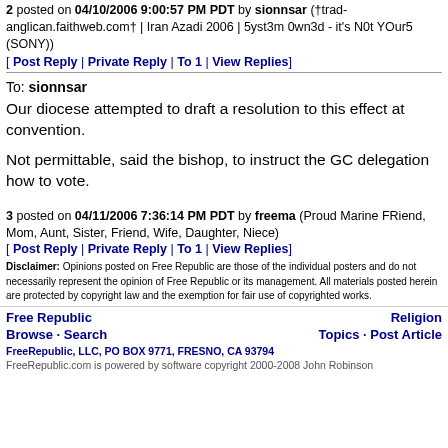2 posted on 04/10/2006 9:00:57 PM PDT by sionnsar (†trad-anglican.faithweb.com† | Iran Azadi 2006 | 5yst3m 0wn3d - it's N0t YOur5 (SONY))
[ Post Reply | Private Reply | To 1 | View Replies]
To: sionnsar
Our diocese attempted to draft a resolution to this effect at convention.
Not permittable, said the bishop, to instruct the GC delegation how to vote.
3 posted on 04/11/2006 7:36:14 PM PDT by freema (Proud Marine FRiend, Mom, Aunt, Sister, Friend, Wife, Daughter, Niece)
[ Post Reply | Private Reply | To 1 | View Replies]
Disclaimer: Opinions posted on Free Republic are those of the individual posters and do not necessarily represent the opinion of Free Republic or its management. All materials posted herein are protected by copyright law and the exemption for fair use of copyrighted works.
Free Republic Browse · Search | Religion Topics · Post Article
FreeRepublic, LLC, PO BOX 9771, FRESNO, CA 93794 FreeRepublic.com is powered by software copyright 2000-2008 John Robinson